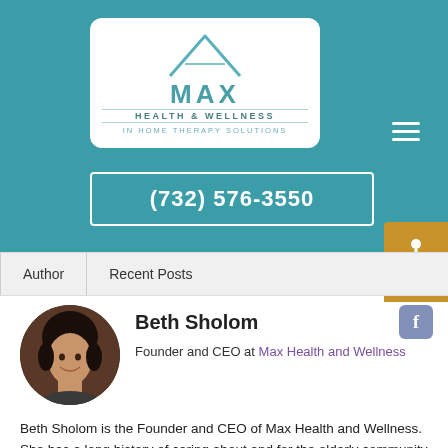[Figure (logo): Max Health and Wellness In Home Therapy Solutions logo with house roof icon]
(732) 576-3550
[Figure (illustration): Accessibility wheelchair icon in gold/amber square button]
Author	Recent Posts
[Figure (photo): Circular headshot photo of Beth Sholom]
Beth Sholom
Founder and CEO at Max Health and Wellness
Beth Sholom is the Founder and CEO of Max Health and Wellness. She has a long history of caring about and for the elderly community because of her experiences with her mother working for 35 years as an assistant to the director of a nursing